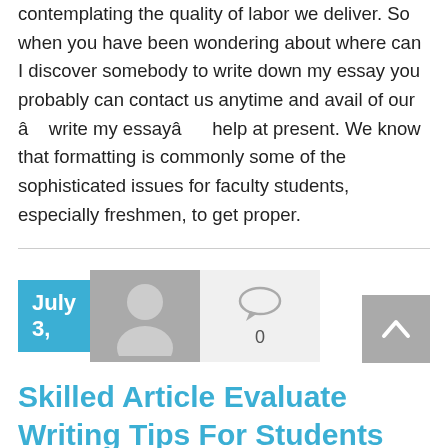contemplating the quality of labor we deliver. So when you have been wondering about where can I discover somebody to write down my essay you probably can contact us anytime and avail of our â   write my essayâ     help at present. We know that formatting is commonly some of the sophisticated issues for faculty students, especially freshmen, to get proper.
[Figure (other): Blog post metadata row: blue date box showing 'July 3,', grey avatar placeholder icon, comment bubble icon with count 0, and grey scroll-to-top arrow button on the right]
Skilled Article Evaluate Writing Tips For Students